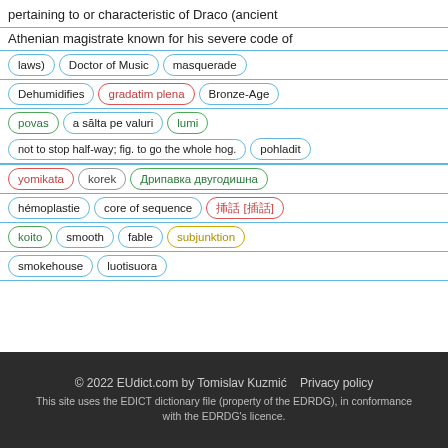pertaining to or characteristic of Draco (ancient
Athenian magistrate known for his severe code of
laws)  Doctor of Music  masquerade
Dehumidifies  gradatim plena  Bronze-Age
povas  a sălta pe valuri  lumi  not to stop half-way; fig. to go the whole hog.  pohladit
yomikata  korek  Дрипавка двугодишна
hémoplastie  core of sequence  挿話 [插話]
koito  smooth  fable  subjunktion
smokehouse  luotisuora
© 2022 EUdict.com by Tomislav Kuzmić   Privacy policy
This site uses the EDICT dictionary file (property of the EDRDG), in conformance with the EDRDG's licence.